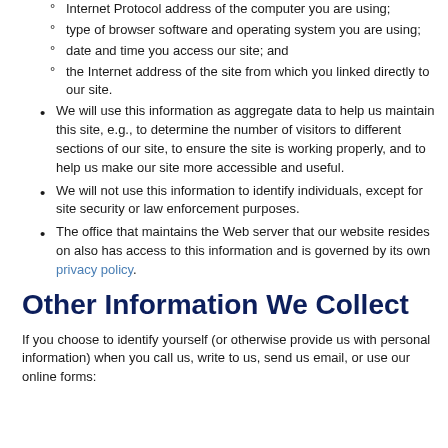Internet Protocol address of the computer you are using;
type of browser software and operating system you are using;
date and time you access our site; and
the Internet address of the site from which you linked directly to our site.
We will use this information as aggregate data to help us maintain this site, e.g., to determine the number of visitors to different sections of our site, to ensure the site is working properly, and to help us make our site more accessible and useful.
We will not use this information to identify individuals, except for site security or law enforcement purposes.
The office that maintains the Web server that our website resides on also has access to this information and is governed by its own privacy policy.
Other Information We Collect
If you choose to identify yourself (or otherwise provide us with personal information) when you call us, write to us, send us email, or use our online forms: